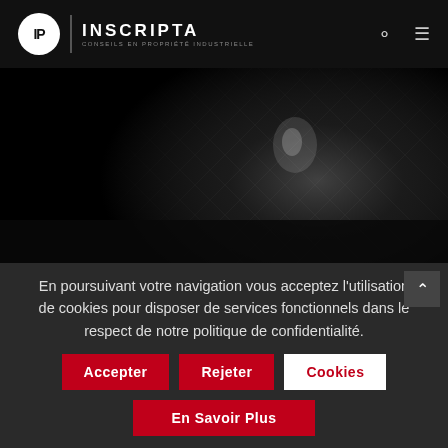[Figure (logo): IP Inscripta logo with circular IP badge, vertical divider, INSCRIPTA text and subtitle CONSEILS EN PROPRIETE INDUSTRIELLE]
[Figure (photo): Dark abstract diagonal grid/mesh pattern background image with subtle light reflection in the center-right area]
En poursuivant votre navigation vous acceptez l'utilisation de cookies pour disposer de services fonctionnels dans le respect de notre politique de confidentialité.
Accepter
Rejeter
Cookies
En Savoir Plus